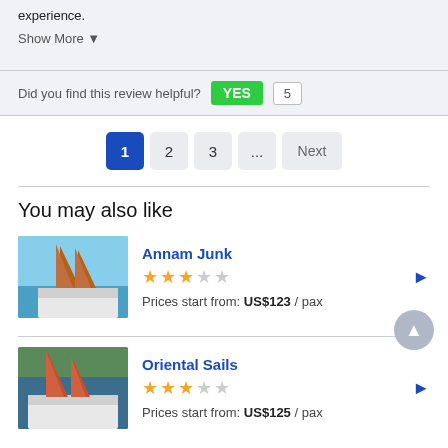experience.
Show More ▾
Did you find this review helpful? YES 5
1 2 3 ... Next
You may also like
Annam Junk
★★★☆☆
Prices start from: US$123 / pax
Oriental Sails
★★★☆☆
Prices start from: US$125 / pax